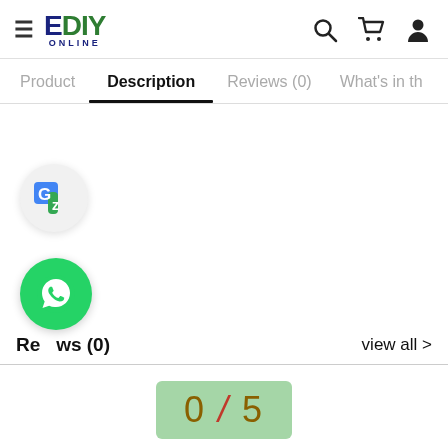EDIY ONLINE — Product | Description | Reviews (0) | What's in th
Description
[Figure (logo): Google Translate floating button icon]
[Figure (logo): WhatsApp floating button icon]
Reviews (0)
view all >
0 / 5
(0 reviews)